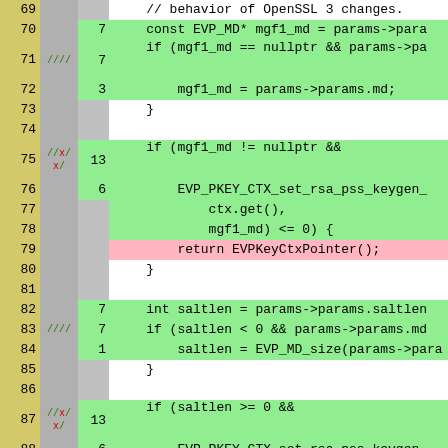[Figure (screenshot): Source code coverage view showing C++ code lines 69-93 with line numbers (yellow column), coverage markers (gray column with green checkmarks and red X marks), hit counts (green column), and code content (green or pink background indicating covered/uncovered lines). Code involves EVP_MD, mgf1_md, saltlen, EVP_PKEY_CTX_set_rsa_pss_keygen_ functions.]